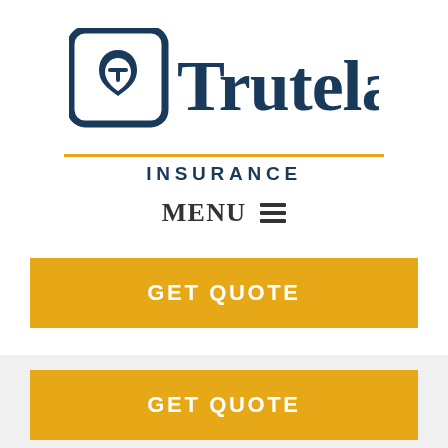[Figure (logo): Trutela Insurance logo with icon and gold underline, text reading 'Trutela.' in dark teal and 'INSURANCE' in spaced dark teal letters below a gold horizontal rule]
MENU ☰
GET QUOTE
GET QUOTE